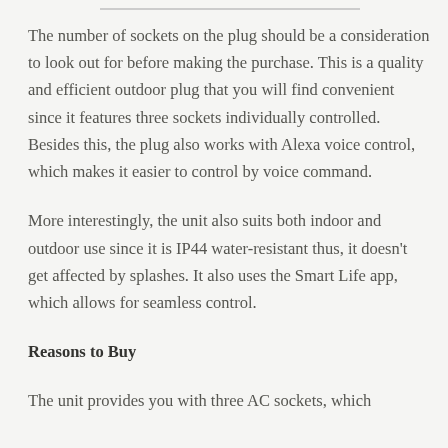The number of sockets on the plug should be a consideration to look out for before making the purchase. This is a quality and efficient outdoor plug that you will find convenient since it features three sockets individually controlled. Besides this, the plug also works with Alexa voice control, which makes it easier to control by voice command.
More interestingly, the unit also suits both indoor and outdoor use since it is IP44 water-resistant thus, it doesn’t get affected by splashes. It also uses the Smart Life app, which allows for seamless control.
Reasons to Buy
The unit provides you with three AC sockets, which